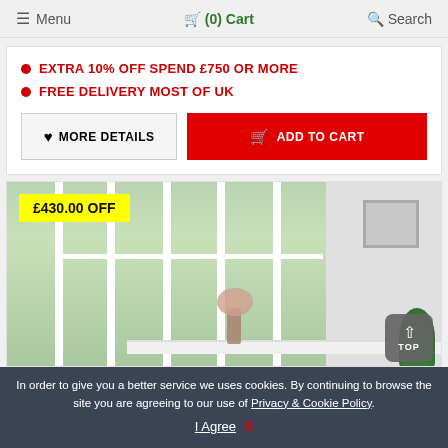Menu  (0) Cart  Search
EXTRA 10% OFF SPEND £750 OR MORE
FREE DELIVERY MOST OF UK
♥ MORE DETAILS   🛒 ADD TO CART
[Figure (photo): Interior room scene showing a white table with vase of flowers near large French windows with garden view, framed artwork on grey wall, and green plant on right side. Yellow badge overlay reads £430.00 OFF]
In order to give you a better service we uses cookies. By continuing to browse the site you are agreeing to our use of Privacy & Cookie Policy. I Agree  X